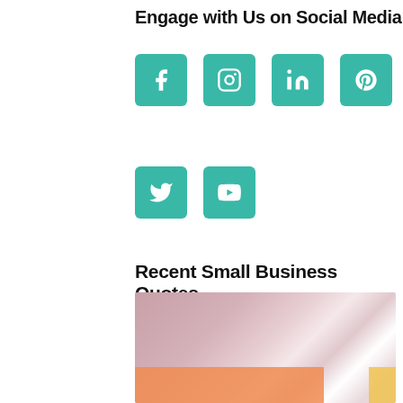Engage with Us on Social Media
[Figure (infographic): Seven social media icon buttons in teal/green rounded squares: Facebook, Instagram, LinkedIn, Pinterest, RSS feed, Twitter, YouTube]
Recent Small Business Quotes
[Figure (photo): Blurred photo of a person smiling, with orange and yellow rectangular overlays at the bottom]